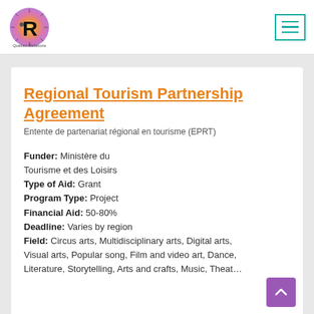Québec Relations logo and navigation menu
Regional Tourism Partnership Agreement
Entente de partenariat régional en tourisme (EPRT)
Funder: Ministère du Tourisme et des Loisirs
Type of Aid: Grant
Program Type: Project
Financial Aid: 50-80%
Deadline: Varies by region
Field: Circus arts, Multidisciplinary arts, Digital arts, Visual arts, Popular song, Film and video art, Dance, Literature, Storytelling, Arts and crafts, Music, Theatre